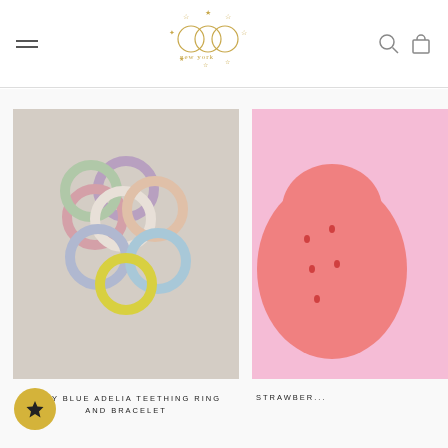EGG New York - navigation header with logo, hamburger menu, search and cart icons
[Figure (photo): Multiple colorful silicone teething ring bracelets arranged in a flower/circular pattern on a beige background. Colors include purple, pink, green, white, peach, yellow, blue, and lavender.]
BABY BLUE ADELIA TEETHING RING AND BRACELET
[Figure (photo): Partially visible pink strawberry-shaped product on the right side of the page.]
STRAWBER...